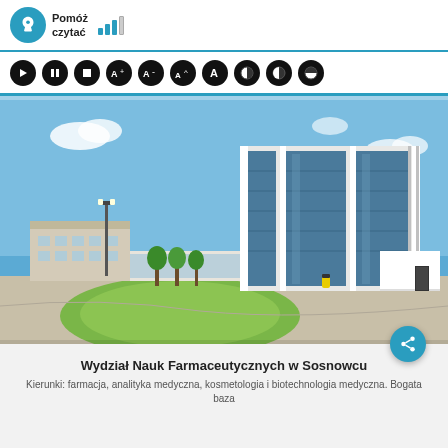Pomóż czytać
[Figure (photo): Modern university building with glass facade, blue sky, green landscaping and parking area in front — Wydział Nauk Farmaceutycznych w Sosnowcu]
Wydział Nauk Farmaceutycznych w Sosnowcu
Kierunki: farmacja, analityka medyczna, kosmetologia i biotechnologia medyczna. Bogata baza